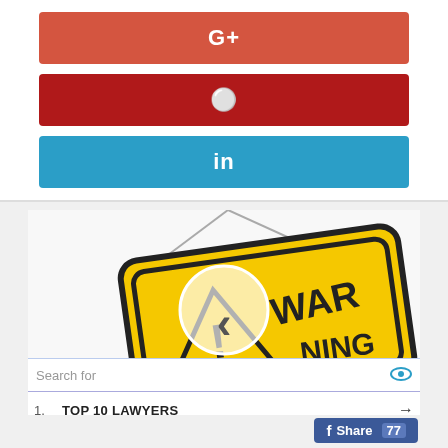[Figure (screenshot): Google+ share button (red-orange)]
[Figure (screenshot): Pinterest share button (dark red)]
[Figure (screenshot): LinkedIn share button (blue)]
[Figure (photo): Warning sign with left carousel navigation arrow overlay]
Search for
1.  TOP 10 LAWYERS →
2.  7% INTEREST SAVINGS ACCOUNTS →
Share | Translate »
Share 77